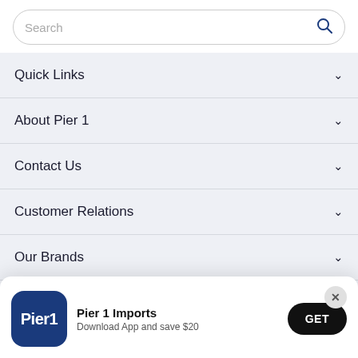[Figure (screenshot): Search bar with placeholder text 'Search' and blue search icon on the right]
Quick Links
About Pier 1
Contact Us
Customer Relations
Our Brands
Co...
[Figure (screenshot): Pier 1 Imports app download popup with logo, text 'Pier 1 Imports - Download App and save $20', GET button, and X close button]